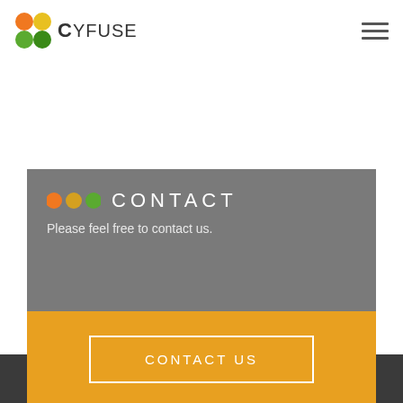[Figure (logo): Cyfuse logo with three colored bubbles (orange, yellow, green) and the text CYFUSE]
CONTACT
Please feel free to contact us.
CONTACT US
[Figure (logo): Cyfuse footer logo bubbles (orange, yellow, green) partially visible at bottom]